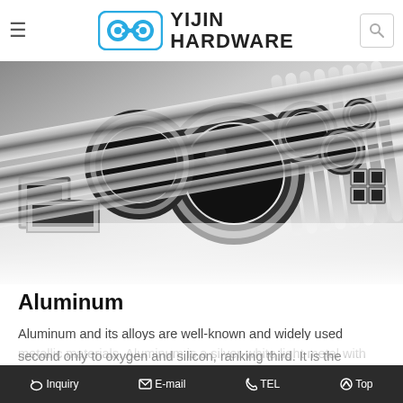YIJIN HARDWARE
[Figure (photo): Collection of shiny silver metallic tubes, pipes, and hollow square/rectangular extrusions of various sizes arranged together on a white reflective surface.]
Aluminum
Aluminum and its alloys are well-known and widely used metallic materials. Aluminum is a silver-white light metal with low density, corrosion resistance, and oxidation resistance. The content of aluminum in the earth's crust is second only to oxygen and silicon, ranking third. It is the most abundant metal element in the earth's crust and is
Inquiry  E-mail  TEL  Top